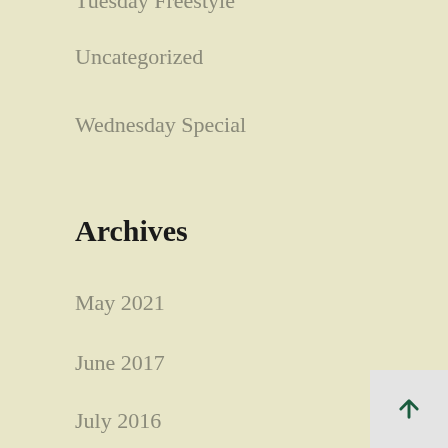Tuesday Freestyle
Uncategorized
Wednesday Special
Archives
May 2021
June 2017
July 2016
June 2016
April 2016
March 2016
February 2016
January 2016